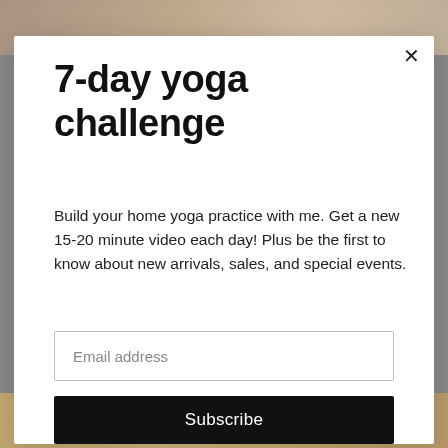[Figure (photo): Partial photo of person doing yoga at top of page, cropped]
7-day yoga challenge
Build your home yoga practice with me. Get a new 15-20 minute video each day! Plus be the first to know about new arrivals, sales, and special events.
Email address
Subscribe
[Figure (photo): Partial photo of person at bottom of page, cropped]